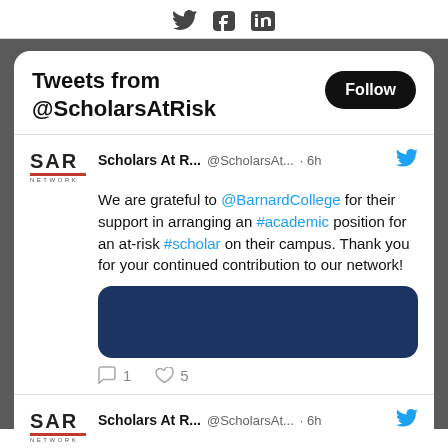Social media icons: Twitter, Facebook, LinkedIn
Tweets from @ScholarsAtRisk
Scholars At R... @ScholarsAt... · 6h — We are grateful to @BarnardCollege for their support in arranging an #academic position for an at-risk #scholar on their campus. Thank you for your continued contribution to our network! — 1 reply, 5 likes
Scholars At R... @ScholarsAt... · 6h — Calling early career researchers (w/in 8